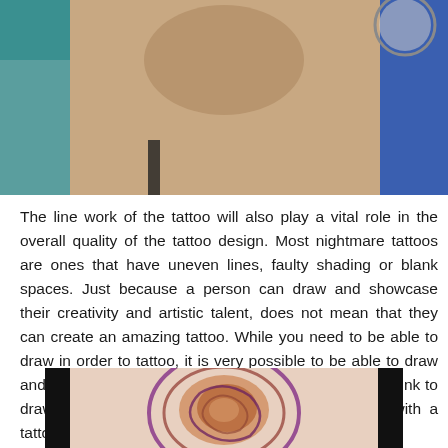[Figure (photo): Photo of a person's neck/chest area with teal and blue clothing in background, with a partial mirror visible]
The line work of the tattoo will also play a vital role in the overall quality of the tattoo design. Most nightmare tattoos are ones that have uneven lines, faulty shading or blank spaces. Just because a person can draw and showcase their creativity and artistic talent, does not mean that they can create an amazing tattoo. While you need to be able to draw in order to tattoo, it is very possible to be able to draw and not be able to tattoo. It is harder than you would think to draw from the various angles of the surface area with a tattoo gun and on skin nevertheless.
[Figure (photo): Close-up photo of a swirling colorful tattoo design with purple, orange and brown tones on skin]